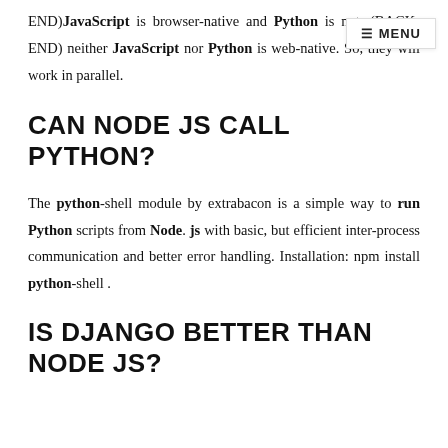END)JavaScript is browser-native and Python is not. (BACK-END) neither JavaScript nor Python is web-native. So, they will work in parallel.
CAN NODE JS CALL PYTHON?
The python-shell module by extrabacon is a simple way to run Python scripts from Node. js with basic, but efficient inter-process communication and better error handling. Installation: npm install python-shell .
IS DJANGO BETTER THAN NODE JS?